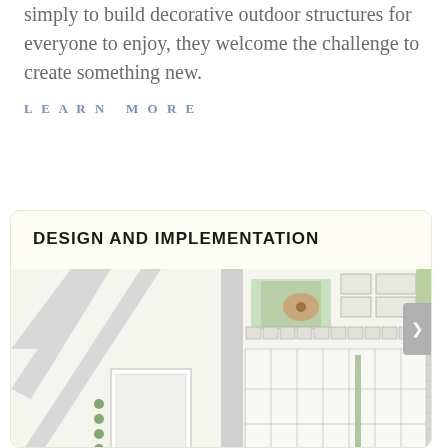simply to build decorative outdoor structures for everyone to enjoy, they welcome the challenge to create something new.
LEARN MORE
DESIGN AND IMPLEMENTATION
[Figure (map): Architectural site plan / aerial map showing a development layout with buildings, roads, parking areas, and green landscaping elements.]